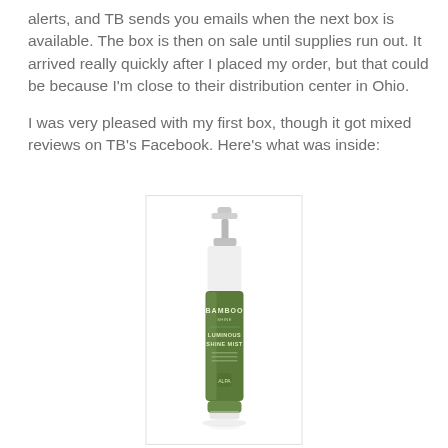alerts, and TB sends you emails when the next box is available. The box is then on sale until supplies run out. It arrived really quickly after I placed my order, but that could be because I'm close to their distribution center in Ohio.

I was very pleased with my first box, though it got mixed reviews on TB's Facebook. Here's what was inside:
[Figure (photo): A spray bottle of Alterna Bamboo Luminous Shine Mist hair product with a green label, shown against a white background with a light shadow/reflection below it.]